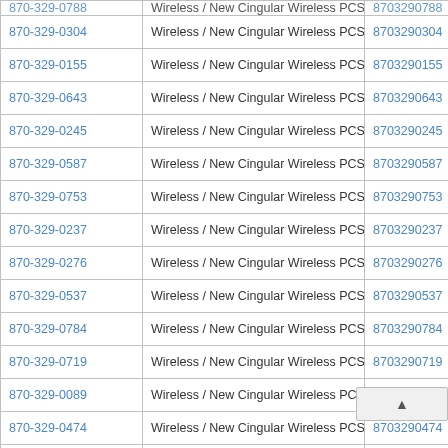| Phone | Type | Number |
| --- | --- | --- |
| 870-329-0788 | Wireless / New Cingular Wireless PCS - IL | 8703290788 |
| 870-329-0304 | Wireless / New Cingular Wireless PCS - IL | 8703290304 |
| 870-329-0155 | Wireless / New Cingular Wireless PCS - IL | 8703290155 |
| 870-329-0643 | Wireless / New Cingular Wireless PCS - IL | 8703290643 |
| 870-329-0245 | Wireless / New Cingular Wireless PCS - IL | 8703290245 |
| 870-329-0587 | Wireless / New Cingular Wireless PCS - IL | 8703290587 |
| 870-329-0753 | Wireless / New Cingular Wireless PCS - IL | 8703290753 |
| 870-329-0237 | Wireless / New Cingular Wireless PCS - IL | 8703290237 |
| 870-329-0276 | Wireless / New Cingular Wireless PCS - IL | 8703290276 |
| 870-329-0537 | Wireless / New Cingular Wireless PCS - IL | 8703290537 |
| 870-329-0784 | Wireless / New Cingular Wireless PCS - IL | 8703290784 |
| 870-329-0719 | Wireless / New Cingular Wireless PCS - IL | 8703290719 |
| 870-329-0089 | Wireless / New Cingular Wireless PCS - IL | 8703290089 |
| 870-329-0474 | Wireless / New Cingular Wireless PCS - IL | 8703290474 |
| 870-329-0362 | Wireless / New Cingular Wireless PCS - IL | 8703290362 |
| 870-329-0174 | Wireless / New Cingular Wireless PCS - IL | 8703290174 |
| 870-329-0766 | Wireless / New Cingular Wireless PCS - IL | 8703290766 |
| 870-329-0670 | Wireless / New Cingular Wireless PCS - IL | 8703290670 |
| 870-329-0764 | Wireless / New Cingular Wireless PCS - IL | 8703290764 |